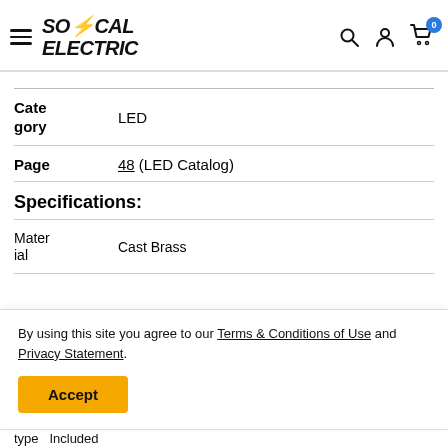SoCal Electric – navigation header with logo, search, account, cart
| Field | Value |
| --- | --- |
| Category | LED |
| Page | 48 (LED Catalog) |
Specifications:
| Field | Value |
| --- | --- |
| Material | Cast Brass |
| type | Included |
By using this site you agree to our Terms & Conditions of Use and Privacy Statement.
Accept